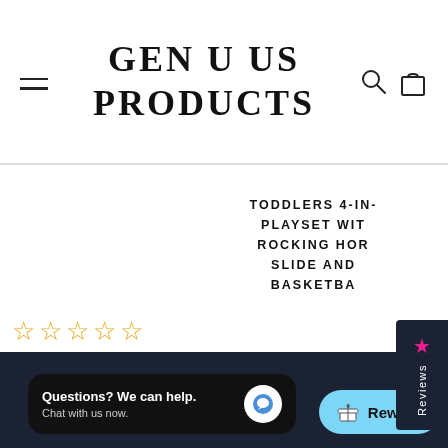GEN U US PRODUCTS
TODDLERS 4-IN-1 PLAYSET WITH ROCKING HORSE SLIDE AND BASKETBALL
$129.99
Save
[Figure (screenshot): Reviews side tab with star icon on dark navy background]
[Figure (infographic): Five empty star rating icons in gold/orange]
[Figure (screenshot): Chat widget: Questions? We can help. Chat with us now. with chat bubble icon]
[Figure (screenshot): Reward button in light blue with gift icon]